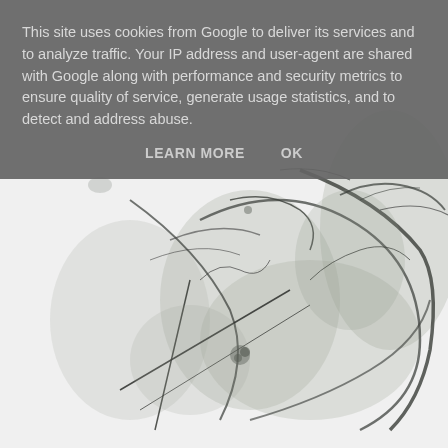[Figure (illustration): Abstract ink wash painting with sweeping black brushstrokes and splashes on a white background, resembling abstract expressionist art]
This site uses cookies from Google to deliver its services and to analyze traffic. Your IP address and user-agent are shared with Google along with performance and security metrics to ensure quality of service, generate usage statistics, and to detect and address abuse.
LEARN MORE    OK